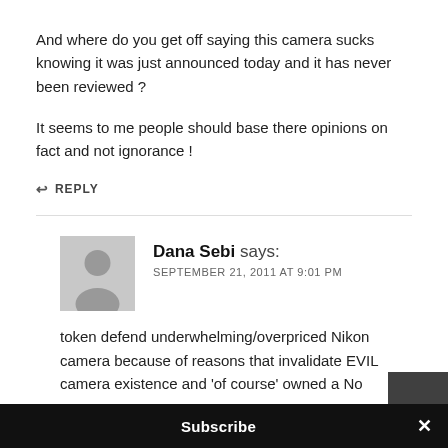And where do you get off saying this camera sucks knowing it was just announced today and it has never been reviewed ?
It seems to me people should base there opinions on fact and not ignorance !
↩ REPLY
Dana Sebi says: SEPTEMBER 21, 2011 AT 9:01 PM
token defend underwhelming/overpriced Nikon camera because of reasons that invalidate EVIL camera existence and 'of course' owned a No...
Subscribe